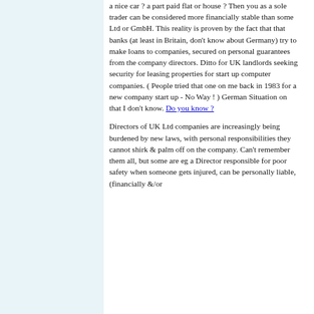a nice car ? a part paid flat or house ? Then you as a sole trader can be considered more financially stable than some Ltd or GmbH. This reality is proven by the fact that that banks (at least in Britain, don't know about Germany) try to make loans to companies, secured on personal guarantees from the company directors. Ditto for UK landlords seeking security for leasing properties for start up computer companies. ( People tried that one on me back in 1983 for a new company start up - No Way ! ) German Situation on that I don't know. Do you know ?
Directors of UK Ltd companies are increasingly being burdened by new laws, with personal responsibilities they cannot shirk & palm off on the company. Can't remember them all, but some are eg a Director responsible for poor safety when someone gets injured, can be personally liable, (financially &/or